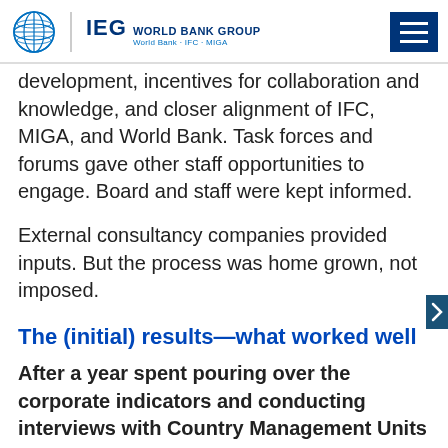IEG | WORLD BANK GROUP World Bank · IFC · MIGA
development, incentives for collaboration and knowledge, and closer alignment of IFC, MIGA, and World Bank. Task forces and forums gave other staff opportunities to engage. Board and staff were kept informed.
External consultancy companies provided inputs. But the process was home grown, not imposed.
The (initial) results—what worked well
After a year spent pouring over the corporate indicators and conducting interviews with Country Management Units (CMUs) and with